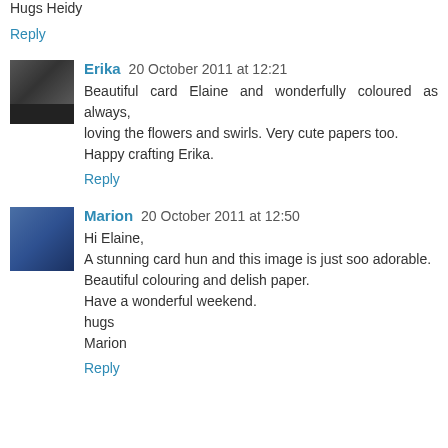Hugs Heidy
Reply
Erika 20 October 2011 at 12:21
Beautiful card Elaine and wonderfully coloured as always, loving the flowers and swirls. Very cute papers too. Happy crafting Erika.
Reply
Marion 20 October 2011 at 12:50
Hi Elaine,
A stunning card hun and this image is just soo adorable. Beautiful colouring and delish paper.
Have a wonderful weekend.
hugs
Marion
Reply